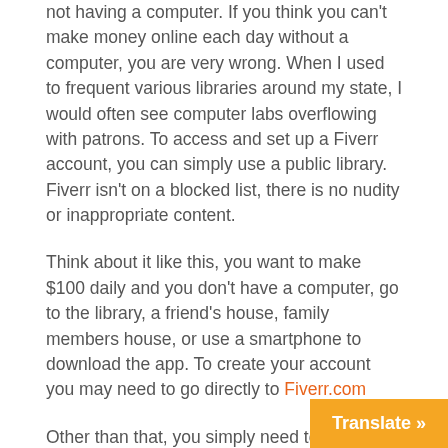not having a computer. If you think you can't make money online each day without a computer, you are very wrong. When I used to frequent various libraries around my state, I would often see computer labs overflowing with patrons. To access and set up a Fiverr account, you can simply use a public library. Fiverr isn't on a blocked list, there is no nudity or inappropriate content.
Think about it like this, you want to make $100 daily and you don't have a computer, go to the library, a friend's house, family members house, or use a smartphone to download the app. To create your account you may need to go directly to Fiverr.com
Other than that, you simply need to set it up and create a regular schedule of when you will check in. Also, one way to support automating is create a timeline for all jobs that is manageable.